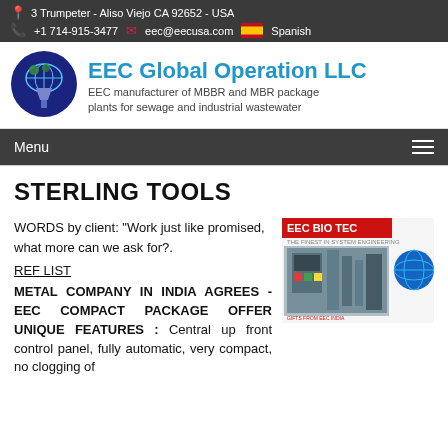3 Trumpeter - Aliso Viejo CA 92652 - USA | +1 714-915-3477 | eec@eecusa.com | Spanish
[Figure (logo): EEC Global Operation LLC company logo — dark blue circle with globe and funnel imagery]
EEC Global Operation LLC
EEC manufacturer of MBBR and MBR package plants for sewage and industrial wastewater
Menu
STERLING TOOLS
WORDS by client: "Work just like promised, what more can we ask for?.
REF LIST
METAL COMPANY IN INDIA AGREES - EEC COMPACT PACKAGE OFFER UNIQUE FEATURES : Central up front control panel, fully automatic, very compact, no clogging of
[Figure (photo): EEC BIO TEC product photo showing a compact package wastewater treatment plant unit alongside a blue globe graphic]